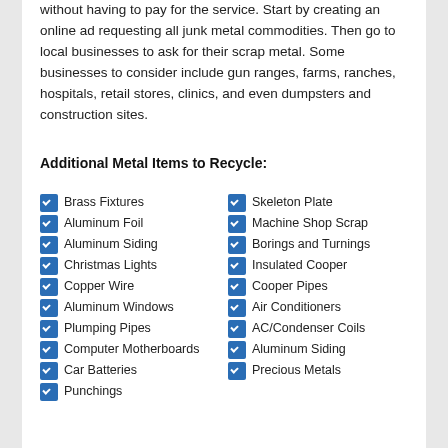without having to pay for the service. Start by creating an online ad requesting all junk metal commodities. Then go to local businesses to ask for their scrap metal. Some businesses to consider include gun ranges, farms, ranches, hospitals, retail stores, clinics, and even dumpsters and construction sites.
Additional Metal Items to Recycle:
Brass Fixtures
Aluminum Foil
Aluminum Siding
Christmas Lights
Copper Wire
Aluminum Windows
Plumping Pipes
Computer Motherboards
Car Batteries
Punchings
Skeleton Plate
Machine Shop Scrap
Borings and Turnings
Insulated Cooper
Cooper Pipes
Air Conditioners
AC/Condenser Coils
Aluminum Siding
Precious Metals